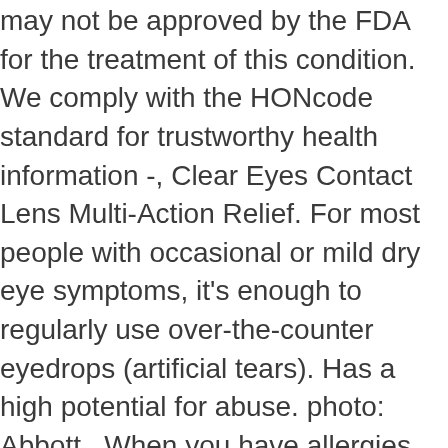may not be approved by the FDA for the treatment of this condition. We comply with the HONcode standard for trustworthy health information -, Clear Eyes Contact Lens Multi-Action Relief. For most people with occasional or mild dry eye symptoms, it's enough to regularly use over-the-counter eyedrops (artificial tears). Has a high potential for abuse. photo: Abbott . When you have allergies, spring is … 4.6 out of 5 stars 913. This type of test measures the composition of particles and water in your tears. Are your symptoms worse in the morning or late in the day? ... Add Optrex 2 In 1 Spray Itchy & Watery Eyes 10Ml Add add Optrex 2 In 1 Spray Itchy & Watery Eyes 10Ml to basket. £13.49 £134.90 per 100ml. Buy Dry Eye Treatments for Contact Lenses with Asda Opticians. These are removable. Write a review Rest of Eye Drops… See